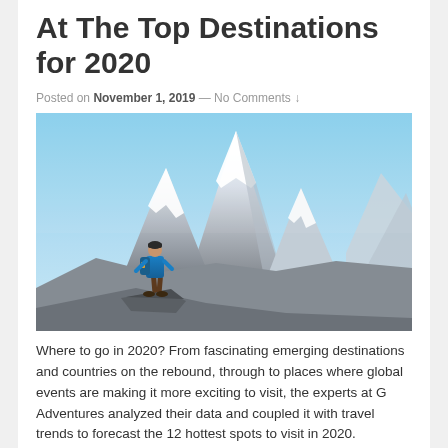At The Top Destinations for 2020
Posted on November 1, 2019 — No Comments ↓
[Figure (photo): A hiker with a blue backpack standing on a rocky outcrop overlooking snow-capped mountain peaks under a clear blue sky.]
Where to go in 2020? From fascinating emerging destinations and countries on the rebound, through to places where global events are making it more exciting to visit, the experts at G Adventures analyzed their data and coupled it with travel trends to forecast the 12 hottest spots to visit in 2020.